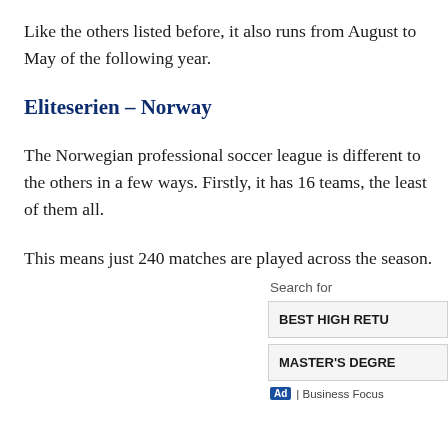Like the others listed before, it also runs from August to May of the following year.
Eliteserien – Norway
The Norwegian professional soccer league is different to the others in a few ways. Firstly, it has 16 teams, the least of them all.
This means just 240 matches are played across the season.
Search for
BEST HIGH RETU
MASTER'S DEGRE
Ad | Business Focus